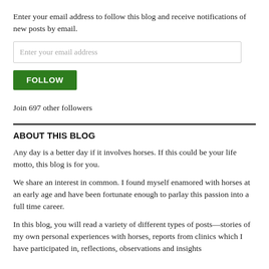Enter your email address to follow this blog and receive notifications of new posts by email.
Enter your email address
FOLLOW
Join 697 other followers
ABOUT THIS BLOG
Any day is a better day if it involves horses.  If this could be your life motto, this blog is for you.
We share an interest in common. I found myself enamored with horses at an early age and have been fortunate enough to parlay this passion into a full time career.
In this blog, you will read a variety of different types of posts—stories of my own personal experiences with horses, reports from clinics which I have participated in, reflections, observations and insights